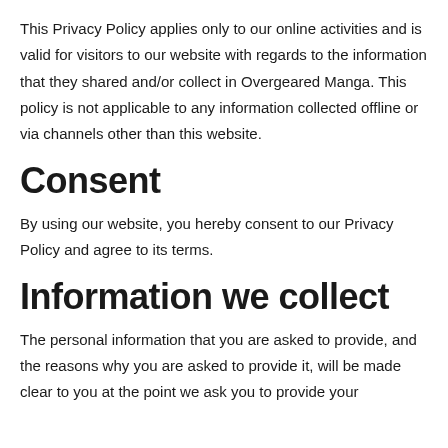This Privacy Policy applies only to our online activities and is valid for visitors to our website with regards to the information that they shared and/or collect in Overgeared Manga. This policy is not applicable to any information collected offline or via channels other than this website.
Consent
By using our website, you hereby consent to our Privacy Policy and agree to its terms.
Information we collect
The personal information that you are asked to provide, and the reasons why you are asked to provide it, will be made clear to you at the point we ask you to provide your